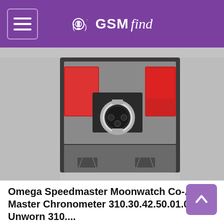GSMfind
[Figure (photo): Omega Speedmaster watch displayed in an open watch box with red documents/booklets on either side, photographed on a grey background]
Omega Speedmaster Moonwatch Co-Axial Master Chronometer 310.30.42.50.01.001 Unworn 310....
Ad  chrono24